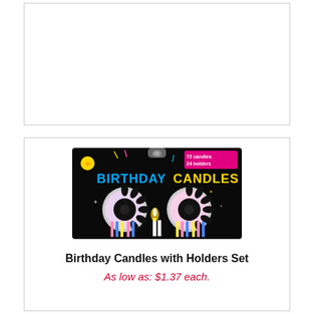[Figure (other): Empty white card area at top of page]
[Figure (photo): Product photo of Birthday Candles with Holders Set packaging — a black-background blister card showing two circular candle holder discs and colorful striped birthday candles, with 'BIRTHDAY CANDLES' text in bright blue and yellow, pink label reading '72 candles 24 holders']
Birthday Candles with Holders Set
As low as: $1.37 each.